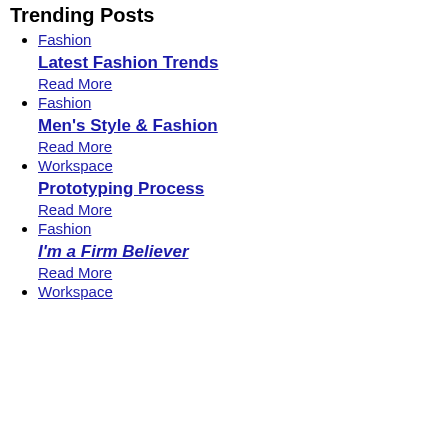Trending Posts
Fashion
Latest Fashion Trends
Read More
Fashion
Men's Style & Fashion
Read More
Workspace
Prototyping Process
Read More
Fashion
I'm a Firm Believer
Read More
Workspace